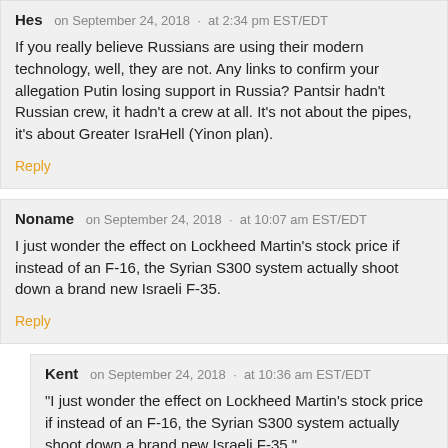Hes  on September 24, 2018 · at 2:34 pm EST/EDT
If you really believe Russians are using their modern technology, well, they are not. Any links to confirm your allegation Putin losing support in Russia? Pantsir hadn't Russian crew, it hadn't a crew at all. It's not about the pipes, it's about Greater IsraHell (Yinon plan).
Reply
Noname  on September 24, 2018 · at 10:07 am EST/EDT
I just wonder the effect on Lockheed Martin's stock price if instead of an F-16, the Syrian S300 system actually shoot down a brand new Israeli F-35.
Reply
Kent  on September 24, 2018 · at 10:36 am EST/EDT
"I just wonder the effect on Lockheed Martin's stock price if instead of an F-16, the Syrian S300 system actually shoot down a brand new Israeli F-35."
Now, that would very very nice. Better still, one, or two each of